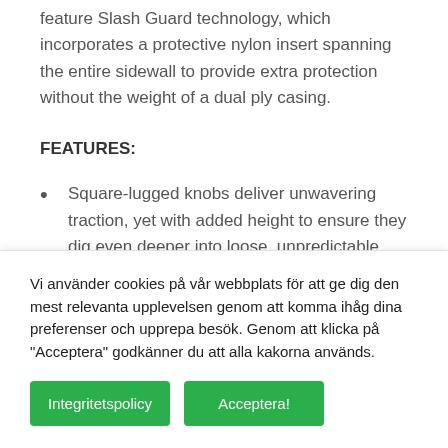feature Slash Guard technology, which incorporates a protective nylon insert spanning the entire sidewall to provide extra protection without the weight of a dual ply casing.
FEATURES:
Square-lugged knobs deliver unwavering traction, yet with added height to ensure they dig even deeper into loose, unpredictable terrain.
Vi använder cookies på vår webbplats för att ge dig den mest relevanta upplevelsen genom att komma ihåg dina preferenser och upprepa besök. Genom att klicka på "Acceptera" godkänner du att alla kakorna används.